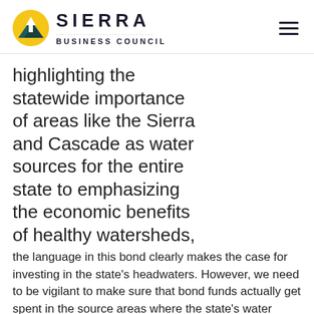SIERRA BUSINESS COUNCIL
highlighting the statewide importance of areas like the Sierra and Cascade as water sources for the entire state to emphasizing the economic benefits of healthy watersheds, the language in this bond clearly makes the case for investing in the state's headwaters. However, we need to be vigilant to make sure that bond funds actually get spent in the source areas where the state's water comes from. Unfortunately, Proposition 1 does not directly allocate much funding to the Sierra or Cascade regions nor to agencies, like the Sierra Nevada Conservancy, that represent the Sierra. As a result,